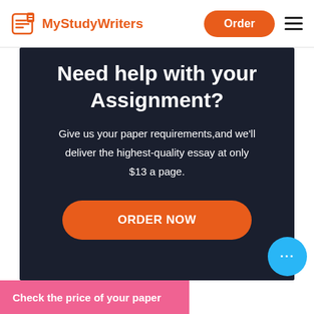MyStudyWriters | Order
Need help with your Assignment?
Give us your paper requirements,and we'll deliver the highest-quality essay at only $13 a page.
ORDER NOW
Check the price of your paper